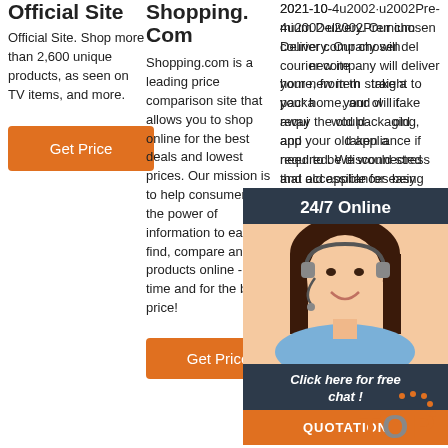Official Site
Official Site. Shop more than 2,600 unique products, as seen on TV items, and more.
Get Price
Shopping.Com
Shopping.com is a leading price comparison site that allows you to shop online for the best deals and lowest prices. Our mission is to help consumers use the power of information to easily find, compare and buy products online - in less time and for the best price!
Get Price
2021-10-4u2002·u2002Premium Delivery. Our chosen courier company will deliver your new item straight to your home, and will take away the old packaging, and your old appliance if required. We would stress that old appliances being taken away will need to be disconnected and accessible for easy removal when your new product is delivered
[Figure (infographic): Dark navy overlay panel with '24/7 Online' header, photo of smiling woman with headset, 'Click here for free chat!' text, and orange QUOTATION button. Orange and white TOP logo in bottom right.]